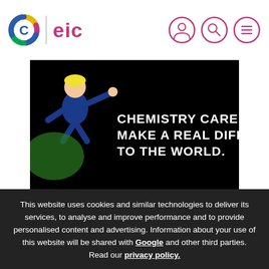C | eic
[Figure (illustration): Hero banner with dark background showing animated character (person in blue suit flying/leaping) and text: CHEMISTRY CAREERS CAN MAKE A REAL DIFFERENCE TO THE WORLD.]
This website uses cookies and similar technologies to deliver its services, to analyse and improve performance and to provide personalised content and advertising. Information about your use of this website will be shared with Google and other third parties. Read our privacy policy.
OK
You're not signed in.